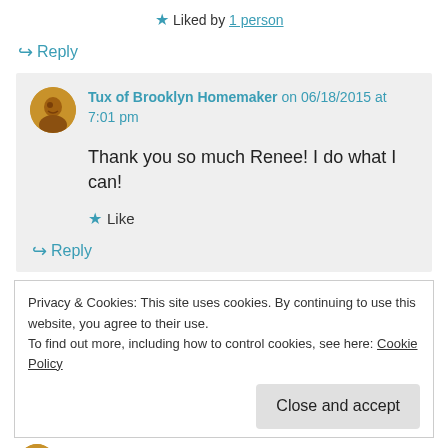★ Liked by 1 person
↪ Reply
Tux of Brooklyn Homemaker on 06/18/2015 at 7:01 pm
Thank you so much Renee! I do what I can!
★ Like
↪ Reply
Privacy & Cookies: This site uses cookies. By continuing to use this website, you agree to their use. To find out more, including how to control cookies, see here: Cookie Policy
Close and accept